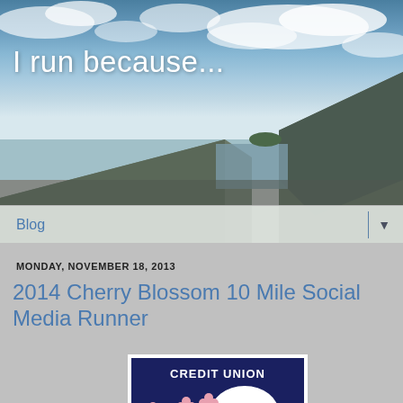[Figure (photo): Coastal cliff landscape with blue sky and clouds, used as blog header background]
I run because...
Blog
MONDAY, NOVEMBER 18, 2013
2014 Cherry Blossom 10 Mile Social Media Runner
[Figure (logo): Credit Union Cherry Blossom Ten Mile Run event logo with navy blue background, cherry blossoms, and capitol building dome]